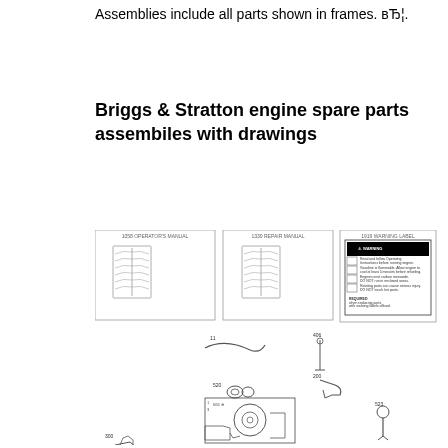Assemblies include all parts shown in frames. вЂ¦.
Briggs & Stratton engine spare parts assembiles with drawings
[Figure (engineering-diagram): Engineering parts diagrams for Briggs & Stratton engine spare parts, showing multiple assembly drawings including: operator's manual (1058), repair manual (1330), warning label (1919), and exploded view diagrams of engine components with part numbers such as 11, 406, 200, 520, 300, 523, 524. Watermark reads eReplacementParts.com.]